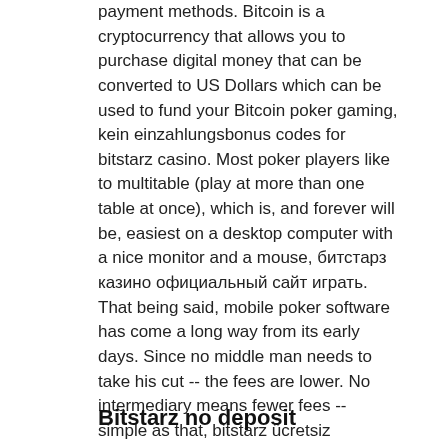payment methods. Bitcoin is a cryptocurrency that allows you to purchase digital money that can be converted to US Dollars which can be used to fund your Bitcoin poker gaming, kein einzahlungsbonus codes for bitstarz casino. Most poker players like to multitable (play at more than one table at once), which is, and forever will be, easiest on a desktop computer with a nice monitor and a mouse, битстарз казино официальный сайт играть. That being said, mobile poker software has come a long way from its early days. Since no middle man needs to take his cut -- the fees are lower. No intermediary means fewer fees -- simple as that, bitstarz ücretsiz döndürme codes. The biggest poker sites often have the hardest games. It's not the case on GGPoker due to their large base of Asian customers, bitstarz kein einzahlungsbonus 20 giri gratuiti.
Bitstarz no deposit